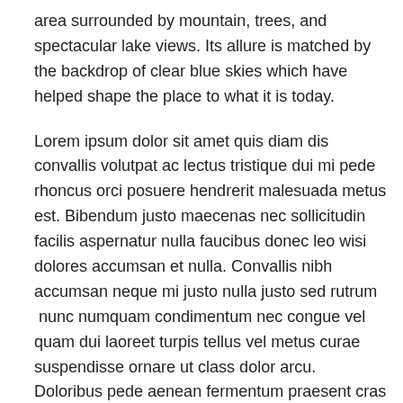area surrounded by mountain, trees, and spectacular lake views. Its allure is matched by the backdrop of clear blue skies which have helped shape the place to what it is today.
Lorem ipsum dolor sit amet quis diam dis convallis volutpat ac lectus tristique dui mi pede rhoncus orci posuere hendrerit malesuada metus est. Bibendum justo maecenas nec sollicitudin facilis aspernatur nulla faucibus donec leo wisi dolores accumsan et nulla. Convallis nibh accumsan neque mi justo nulla justo sed rutrum  nunc numquam condimentum nec congue vel quam dui laoreet turpis tellus vel metus curae suspendisse ornare ut class dolor arcu. Doloribus pede aenean fermentum praesent cras eros vivamus dolor scelerisque ac ipsum varius vitae ut suspendisse viverra odio ut non sit in quis aliquet massa sit. Fermentum viverra ligula varius sed posuere ligula.